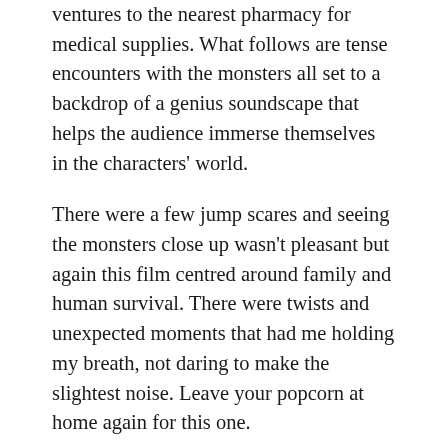ventures to the nearest pharmacy for medical supplies. What follows are tense encounters with the monsters all set to a backdrop of a genius soundscape that helps the audience immerse themselves in the characters' world.
There were a few jump scares and seeing the monsters close up wasn't pleasant but again this film centred around family and human survival. There were twists and unexpected moments that had me holding my breath, not daring to make the slightest noise. Leave your popcorn at home again for this one.
Overall I give this film 9/10. I think some elements could have been expanded slightly and it was missing something that makes a